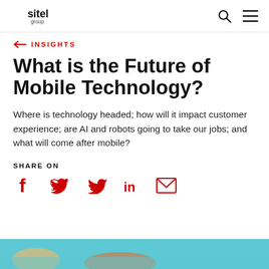Sitel Group
← INSIGHTS
What is the Future of Mobile Technology?
Where is technology headed; how will it impact customer experience; are AI and robots going to take our jobs; and what will come after mobile?
SHARE ON
[Figure (infographic): Social share icons: Facebook, Twitter, LinkedIn, Email]
[Figure (illustration): Colorful illustrated image partially visible at bottom of page with teal/blue background]